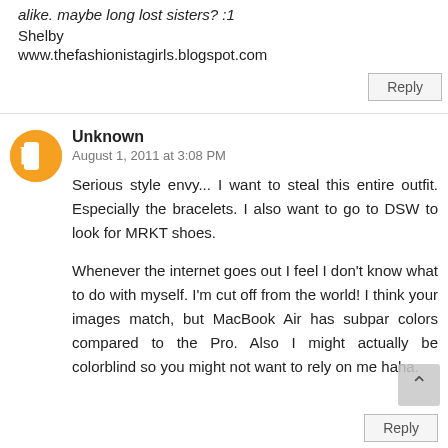alike. maybe long lost sisters? :1
Shelby
www.thefashionistagirls.blogspot.com
Reply
[Figure (illustration): Orange circular Blogger avatar icon with white B logo]
Unknown
August 1, 2011 at 3:08 PM
Serious style envy... I want to steal this entire outfit. Especially the bracelets. I also want to go to DSW to look for MRKT shoes.
Whenever the internet goes out I feel I don't know what to do with myself. I'm cut off from the world! I think your images match, but MacBook Air has subpar colors compared to the Pro. Also I might actually be colorblind so you might not want to rely on me haha.
Reply